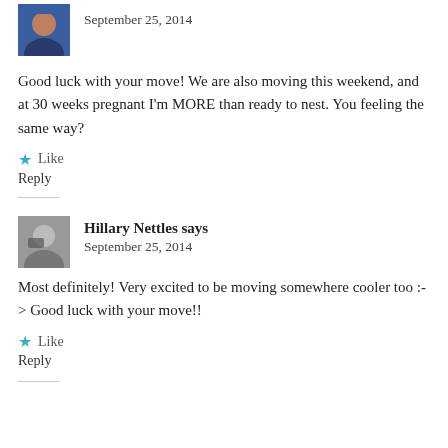September 25, 2014
Good luck with your move! We are also moving this weekend, and at 30 weeks pregnant I'm MORE than ready to nest. You feeling the same way?
Like
Reply
Hillary Nettles says
September 25, 2014
Most definitely! Very excited to be moving somewhere cooler too :-> Good luck with your move!!
Like
Reply